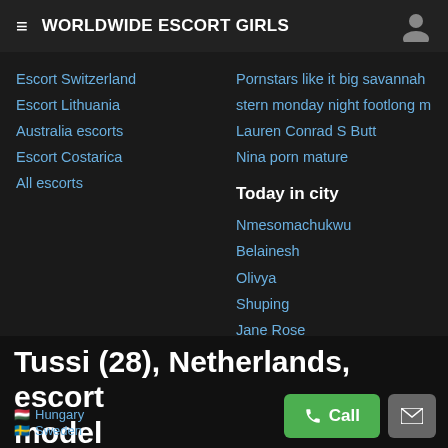WORLDWIDE ESCORT GIRLS
Escort Switzerland
Escort Lithuania
Australia escorts
Escort Costarica
All escorts
Pornstars like it big savannah
stern monday night footlong m
Lauren Conrad S Butt
Nina porn mature
Today in city
Nmesomachukwu
Belainesh
Olivya
Shuping
Jane Rose
the-paraclete.com in WorldWide Directory Escort
Tussi (28), Netherlands, escort model